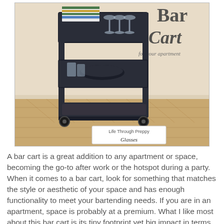[Figure (photo): Photo of a dark navy/black three-tier bar cart on a wood floor against a white wall. The cart has striped towels on top, wine glasses, and various barware. Text overlay reads 'Bar Cart for your apartment' and a watermark reads 'Life Through Preppy Glasses'.]
A bar cart is a great addition to any apartment or space, becoming the go-to after work or the hotspot during a party. When it comes to a bar cart, look for something that matches the style or aesthetic of your space and has enough functionality to meet your bartending needs. If you are in an apartment, space is probably at a premium. What I like most about this bar cart is its tiny footprint yet big impact in terms of storage space.